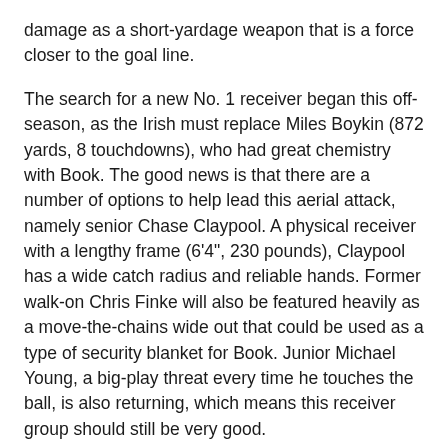damage as a short-yardage weapon that is a force closer to the goal line.
The search for a new No. 1 receiver began this off-season, as the Irish must replace Miles Boykin (872 yards, 8 touchdowns), who had great chemistry with Book. The good news is that there are a number of options to help lead this aerial attack, namely senior Chase Claypool. A physical receiver with a lengthy frame (6'4", 230 pounds), Claypool has a wide catch radius and reliable hands. Former walk-on Chris Finke will also be featured heavily as a move-the-chains wide out that could be used as a type of security blanket for Book. Junior Michael Young, a big-play threat every time he touches the ball, is also returning, which means this receiver group should still be very good.
Tight end is a position that Notre Dame develops as well as any on this roster, with guys like Tyler Eifert, Kyle Rudolph and John Carlson all starring in South Bend before making the jump to the pros. Even though rock-solid Alize Mack may be